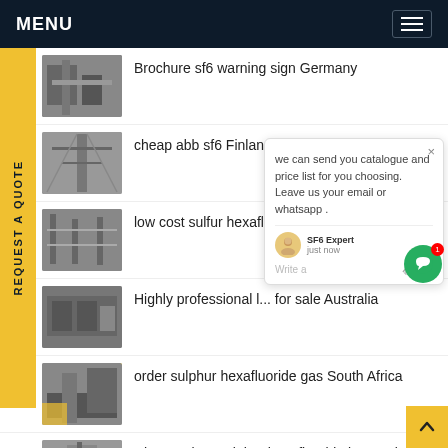MENU
Brochure sf6 warning sign Germany
cheap abb sf6 Finland
low cost sulfur hexafluoride machine Indonesia
Highly professional l... for sale Australia
order sulphur hexafluoride gas South Africa
where to buy sulphur hexafluoride is Bangladesh